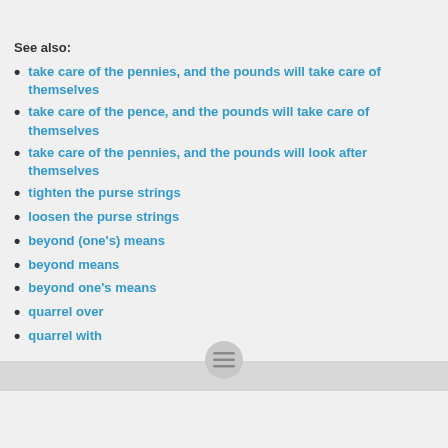See also:
take care of the pennies, and the pounds will take care of themselves
take care of the pence, and the pounds will take care of themselves
take care of the pennies, and the pounds will look after themselves
tighten the purse strings
loosen the purse strings
beyond (one's) means
beyond means
beyond one's means
quarrel over
quarrel with